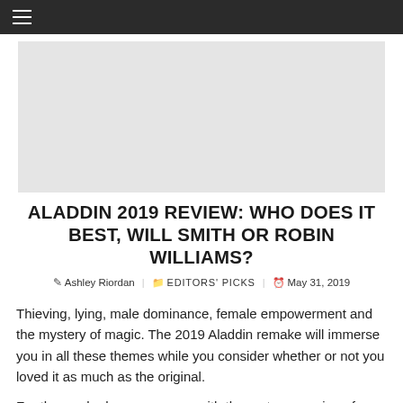≡
[Figure (other): Light gray advertisement placeholder banner]
ALADDIN 2019 REVIEW: WHO DOES IT BEST, WILL SMITH OR ROBIN WILLIAMS?
✎ Ashley Riordan  📁 EDITORS' PICKS  🕐 May 31, 2019
Thieving, lying, male dominance, female empowerment and the mystery of magic. The 2019 Aladdin remake will immerse you in all these themes while you consider whether or not you loved it as much as the original.
For those who have grown up with the cartoon version of